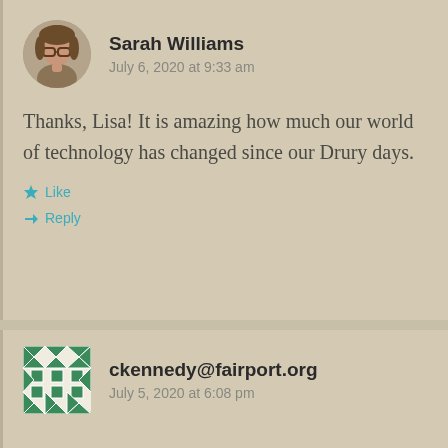Sarah Williams
July 6, 2020 at 9:33 am
Thanks, Lisa! It is amazing how much our world of technology has changed since our Drury days.
Like
Reply
ckennedy@fairport.org
July 5, 2020 at 6:08 pm